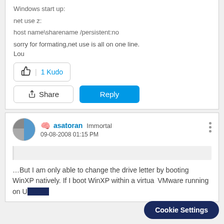Windows start up:
net use z:
host name\sharename /persistent:no
sorry for formating,net use is all on one line.
Lou
1 Kudo
Share
Reply
asatoran  Immortal  09-08-2008 01:15 PM
…But I am only able to change the drive letter by booting WinXP natively. If I boot WinXP within a virtua VMware running on U
Cookie Settings